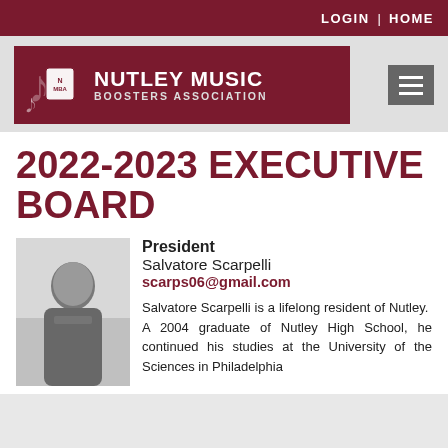LOGIN | HOME
[Figure (logo): Nutley Music Boosters Association logo — maroon banner with musical notes and NMBA shield icon, white bold text reading NUTLEY MUSIC BOOSTERS ASSOCIATION]
2022-2023 EXECUTIVE BOARD
[Figure (photo): Headshot photo of Salvatore Scarpelli, a man in a grey polo shirt with an NMBA logo, photographed outdoors in black and white background]
President
Salvatore Scarpelli
scarps06@gmail.com
Salvatore Scarpelli is a lifelong resident of Nutley. A 2004 graduate of Nutley High School, he continued his studies at the University of the Sciences in Philadelphia